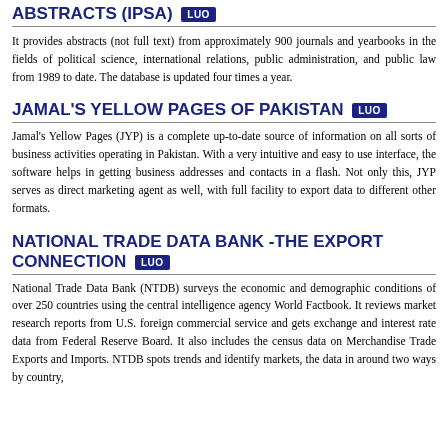ABSTRACTS (IPSA) LUO
It provides abstracts (not full text) from approximately 900 journals and yearbooks in the fields of political science, international relations, public administration, and public law from 1989 to date. The database is updated four times a year.
JAMAL'S YELLOW PAGES OF PAKISTAN LUO
Jamal's Yellow Pages (JYP) is a complete up-to-date source of information on all sorts of business activities operating in Pakistan. With a very intuitive and easy to use interface, the software helps in getting business addresses and contacts in a flash. Not only this, JYP serves as direct marketing agent as well, with full facility to export data to different other formats.
NATIONAL TRADE DATA BANK -THE EXPORT CONNECTION LUO
National Trade Data Bank (NTDB) surveys the economic and demographic conditions of over 250 countries using the central intelligence agency World Factbook. It reviews market research reports from U.S. foreign commercial service and gets exchange and interest rate data from Federal Reserve Board. It also includes the census data on Merchandise Trade Exports and Imports. NTDB spots trends and identify markets, the data in around two ways by country,